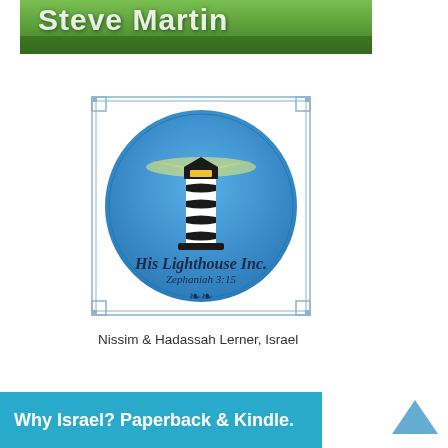[Figure (photo): Partial photo of outdoor greenery/garden scene with white text overlay showing 'Steve Martin' partially visible at top]
[Figure (logo): His Lighthouse Inc. logo: circular blue logo with lighthouse illustration, bordered by decorative rectangular frame. Text reads 'His Lighthouse Inc.' and 'Zephaniah 3:15' with laurel decoration at bottom.]
Nissim & Hadassah Lerner, Israel
Why Israel? Paperback & Kindle.